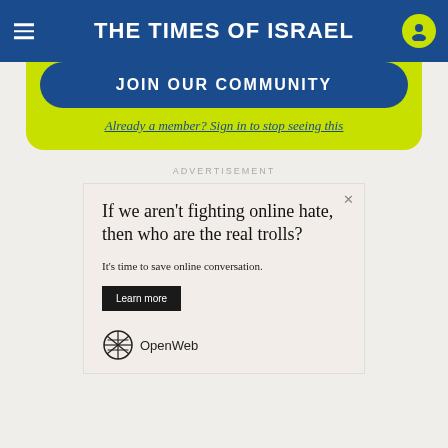THE TIMES OF ISRAEL
JOIN OUR COMMUNITY
Already a member? Sign in to stop seeing this
ADVERTISEMENT
[Figure (other): Advertisement for OpenWeb: 'If we aren't fighting online hate, then who are the real trolls? It's time to save online conversation. Learn more. OpenWeb logo.']